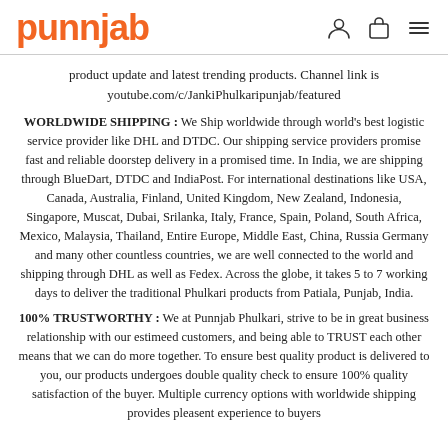punnjab
product update and latest trending products. Channel link is youtube.com/c/JankiPhulkaripunjab/featured
WORLDWIDE SHIPPING : We Ship worldwide through world's best logistic service provider like DHL and DTDC. Our shipping service providers promise fast and reliable doorstep delivery in a promised time. In India, we are shipping through BlueDart, DTDC and IndiaPost. For international destinations like USA, Canada, Australia, Finland, United Kingdom, New Zealand, Indonesia, Singapore, Muscat, Dubai, Srilanka, Italy, France, Spain, Poland, South Africa, Mexico, Malaysia, Thailand, Entire Europe, Middle East, China, Russia Germany and many other countless countries, we are well connected to the world and shipping through DHL as well as Fedex. Across the globe, it takes 5 to 7 working days to deliver the traditional Phulkari products from Patiala, Punjab, India.
100% TRUSTWORTHY : We at Punnjab Phulkari, strive to be in great business relationship with our estimeed customers, and being able to TRUST each other means that we can do more together. To ensure best quality product is delivered to you, our products undergoes double quality check to ensure 100% quality satisfaction of the buyer. Multiple currency options with worldwide shipping provides pleasent experience to buyers